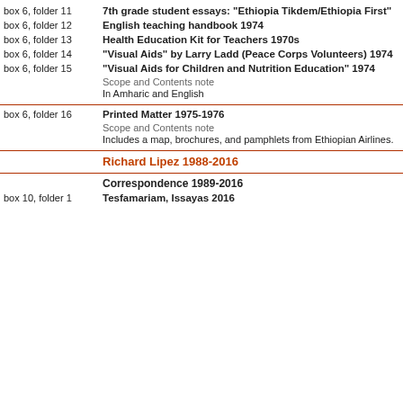box 6, folder 11 — 7th grade student essays: "Ethiopia Tikdem/Ethiopia First"
box 6, folder 12 — English teaching handbook 1974
box 6, folder 13 — Health Education Kit for Teachers 1970s
box 6, folder 14 — "Visual Aids" by Larry Ladd (Peace Corps Volunteers) 1974
box 6, folder 15 — "Visual Aids for Children and Nutrition Education" 1974
Scope and Contents note
In Amharic and English
box 6, folder 16 — Printed Matter 1975-1976
Scope and Contents note
Includes a map, brochures, and pamphlets from Ethiopian Airlines.
Richard Lipez 1988-2016
Correspondence 1989-2016
box 10, folder 1 — Tesfamariam, Issayas 2016